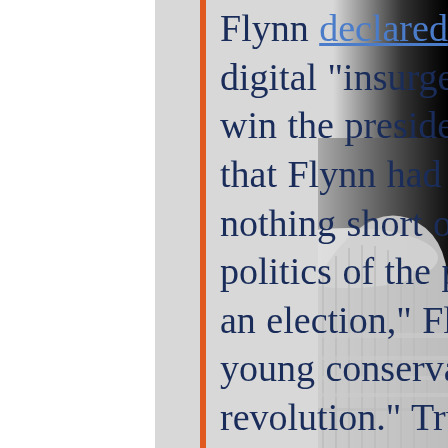Flynn declared that the sheer force of a digital “insurgency” had helped Trump win the presidency. The online campaign that Flynn had helped Trump wage was nothing short of a total break with the politics of the past, he said. “This was not an election,” Flynn told the audience of young conservatives, “this was a revolution.” Trump, Flynn declared, had been elected by an “army of digital soldiers.”
[Figure (photo): Black and white photo of the US Capitol building dome, visible on the right side of the page against a dark background.]